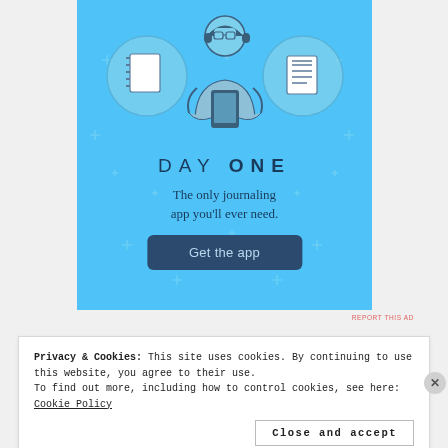[Figure (illustration): Day One journaling app advertisement on a sky-blue background. Three circular icons at the top show a blank notebook, a person holding a phone, and a checklist. Below is the text 'DAY ONE' in spaced lettering, followed by tagline 'The only journaling app you'll ever need.' and a dark blue 'Get the app' button. Small sparkle/star decorations are scattered across the background.]
REPORT THIS AD
Privacy & Cookies: This site uses cookies. By continuing to use this website, you agree to their use.
To find out more, including how to control cookies, see here: Cookie Policy
Close and accept